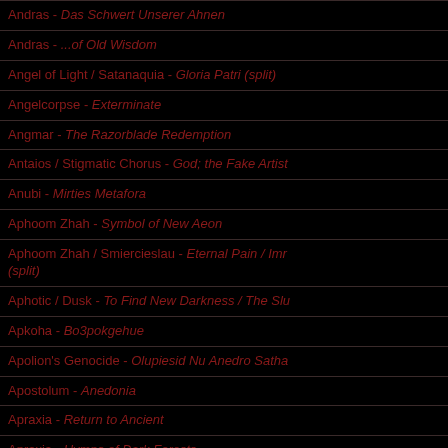Andras - Das Schwert Unserer Ahnen
Andras - ...of Old Wisdom
Angel of Light / Satanaquia - Gloria Patri (split)
Angelcorpse - Exterminate
Angmar - The Razorblade Redemption
Antaios / Stigmatic Chorus - God; the Fake Artist
Anubi - Mirties Metafora
Aphoom Zhah - Symbol of New Aeon
Aphoom Zhah / Smiercieslau - Eternal Pain / Imr (split)
Aphotic / Dusk - To Find New Darkness / The Slu
Apkoha - Bo3pokgehue
Apolion's Genocide - Olupiesid Nu Anedro Satha
Apostolum - Anedonia
Apraxia - Return to Ancient
Apraxia - Hymns of Dark Forests